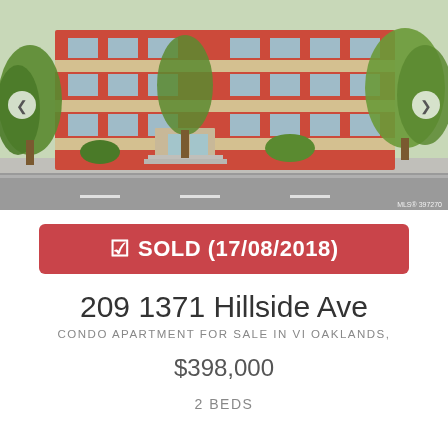[Figure (photo): Exterior photo of a multi-story red brick condominium building with balconies, green trees in front, and a street in the foreground. Navigation arrows on left and right sides. MLS watermark at bottom right.]
☑ SOLD (17/08/2018)
209 1371 Hillside Ave
CONDO APARTMENT FOR SALE IN VI OAKLANDS,
$398,000
2 BEDS